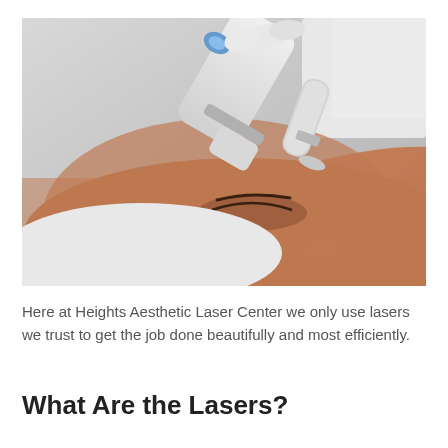[Figure (photo): A medical professional holding a laser/aesthetic device near a patient's face. The patient appears to be lying down with eyes closed. The device is white with a metallic tip. Clinical setting with grey background.]
Here at Heights Aesthetic Laser Center we only use lasers we trust to get the job done beautifully and most efficiently.
What Are the Lasers?